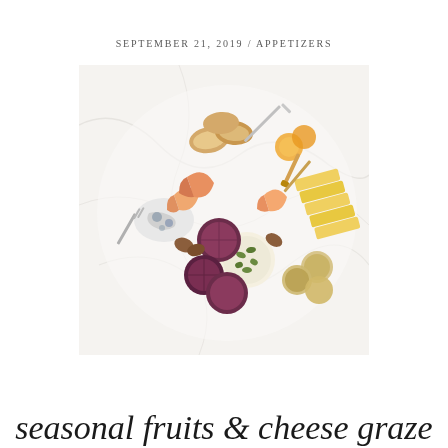SEPTEMBER 21, 2019 / APPETIZERS
[Figure (photo): Overhead shot of a charcuterie/grazing board on a white marble surface, featuring seasonal fruits (sliced peaches, plums, apples), blue cheese, brie topped with pumpkin seeds, sliced aged cheese, crackers, crostini, pecans, honey dipper, and serving utensils.]
seasonal fruits & cheese graze